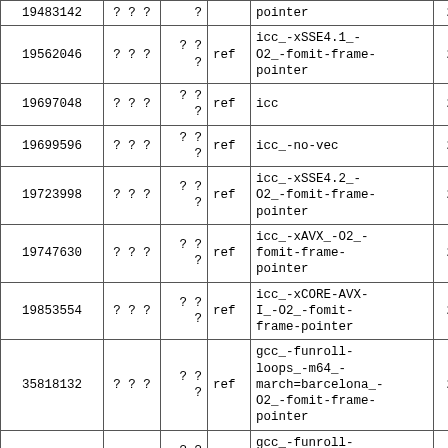| ID | ??? | ? ? ? |  | compiler flags |  |
| --- | --- | --- | --- | --- | --- |
| 19483142 | ? ? ? | ?
? |  | pointer | 20 |
| 19562046 | ? ? ? | ? ?
? | ref | icc_-xSSE4.1_-O2_-fomit-frame-pointer | 20 |
| 19697048 | ? ? ? | ? ?
? | ref | icc | 20 |
| 19699596 | ? ? ? | ? ?
? | ref | icc_-no-vec | 20 |
| 19723998 | ? ? ? | ? ?
? | ref | icc_-xSSE4.2_-O2_-fomit-frame-pointer | 20 |
| 19747630 | ? ? ? | ? ?
? | ref | icc_-xAVX_-O2_-fomit-frame-pointer | 20 |
| 19853554 | ? ? ? | ? ?
? | ref | icc_-xCORE-AVX-I_-O2_-fomit-frame-pointer | 20 |
| 35818132 | ? ? ? | ? ?
? | ref | gcc_-funroll-loops_-m64_-march=barcelona_-O2_-fomit-frame-pointer | 20 |
| 35887180 | ? ? ? | ? ?
? | ref | gcc_-funroll-loops_-O2_-fomit-frame-pointer | 20 |